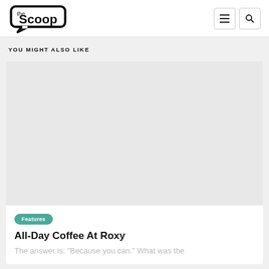the Scoop
YOU MIGHT ALSO LIKE
[Figure (illustration): Gray placeholder image for article thumbnail]
Features
All-Day Coffee At Roxy
The answer is: “Because you can.” What was the